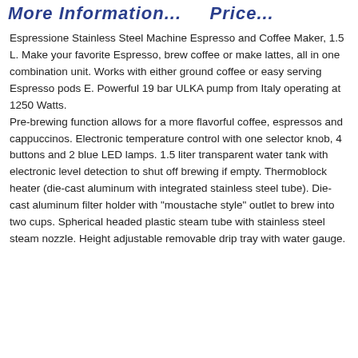More Information... Price...
Espressione Stainless Steel Machine Espresso and Coffee Maker, 1.5 L. Make your favorite Espresso, brew coffee or make lattes, all in one combination unit. Works with either ground coffee or easy serving Espresso pods E. Powerful 19 bar ULKA pump from Italy operating at 1250 Watts.
Pre-brewing function allows for a more flavorful coffee, espressos and cappuccinos. Electronic temperature control with one selector knob, 4 buttons and 2 blue LED lamps. 1.5 liter transparent water tank with electronic level detection to shut off brewing if empty. Thermoblock heater (die-cast aluminum with integrated stainless steel tube). Die-cast aluminum filter holder with "moustache style" outlet to brew into two cups. Spherical headed plastic steam tube with stainless steel steam nozzle. Height adjustable removable drip tray with water gauge.